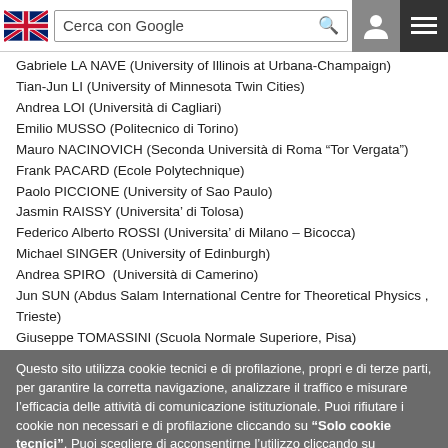Cerca con Google
Gabriele LA NAVE (University of Illinois at Urbana-Champaign)
Tian-Jun LI (University of Minnesota Twin Cities)
Andrea LOI (Università di Cagliari)
Emilio MUSSO (Politecnico di Torino)
Mauro NACINOVICH (Seconda Università di Roma "Tor Vergata")
Frank PACARD (Ecole Polytechnique)
Paolo PICCIONE (University of Sao Paulo)
Jasmin RAISSY (Universita' di Tolosa)
Federico Alberto ROSSI (Universita' di Milano – Bicocca)
Michael SINGER (University of Edinburgh)
Andrea SPIRO  (Università di Camerino)
Jun SUN (Abdus Salam International Centre for Theoretical Physics , Trieste)
Giuseppe TOMASSINI (Scuola Normale Superiore, Pisa)
Questo sito utilizza cookie tecnici e di profilazione, propri e di terze parti, per garantire la corretta navigazione, analizzare il traffico e misurare l'efficacia delle attività di comunicazione istituzionale. Puoi rifiutare i cookie non necessari e di profilazione cliccando su "Solo cookie tecnici". Puoi scegliere di acconsentirne l'utilizzo cliccando su "Accetta tutti" oppure puoi personalizzare le tue scelte